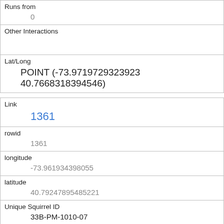| Runs from | 0 |
| Other Interactions |  |
| Lat/Long | POINT (-73.9719729323923 40.7668318394546) |
| Link | 1361 |
| rowid | 1361 |
| longitude | -73.961934398055 |
| latitude | 40.79247895485221 |
| Unique Squirrel ID | 33B-PM-1010-07 |
| Hectare | 33B |
| Shift |  |